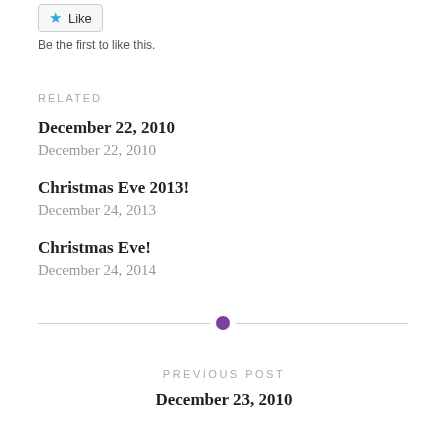[Figure (other): Like button with blue star icon and text 'Like']
Be the first to like this.
RELATED
December 22, 2010
December 22, 2010
Christmas Eve 2013!
December 24, 2013
Christmas Eve!
December 24, 2014
[Figure (other): Horizontal divider with purple dot in center]
PREVIOUS POST
December 23, 2010